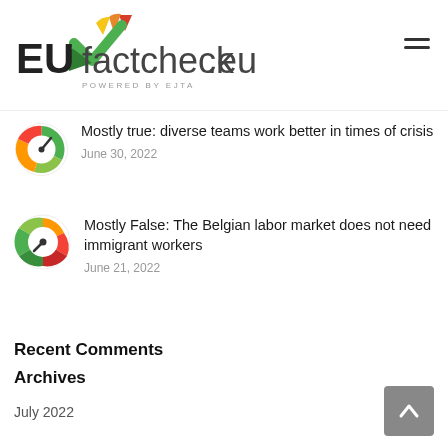[Figure (logo): EUfactcheck.eu logo with colored meter icon, POWERED BY EJTA subtitle, and hamburger menu icon]
Mostly true: diverse teams work better in times of crisis
June 30, 2022
Mostly False: The Belgian labor market does not need immigrant workers
June 21, 2022
Recent Comments
Archives
July 2022